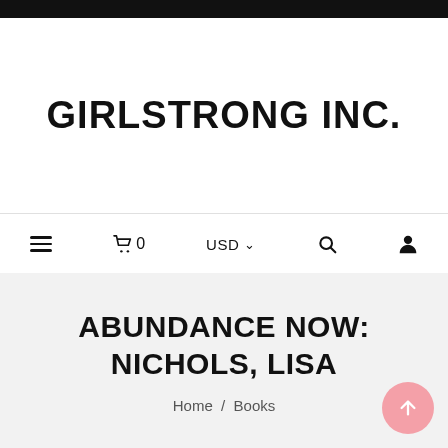GIRLSTRONG INC.
≡  🛒0  USD ∨  🔍  👤
ABUNDANCE NOW: NICHOLS, LISA
Home / Books